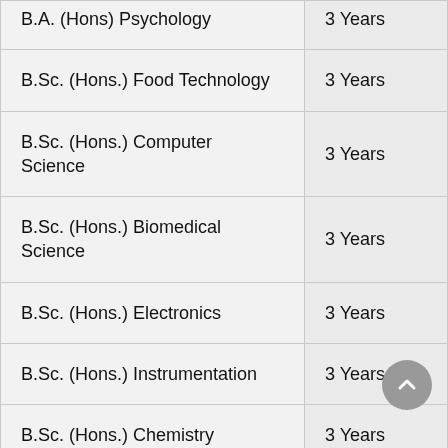| Programme | Duration |
| --- | --- |
| B.A. (Hons) Psychology | 3 Years |
| B.Sc. (Hons.) Food Technology | 3 Years |
| B.Sc. (Hons.) Computer Science | 3 Years |
| B.Sc. (Hons.) Biomedical Science | 3 Years |
| B.Sc. (Hons.) Electronics | 3 Years |
| B.Sc. (Hons.) Instrumentation | 3 Years |
| B.Sc. (Hons.) Chemistry | 3 Years |
| B.Sc. (Hons.) Mathematics | 3 Years |
| B.Sc. (Hons.) Physics | 3 Years |